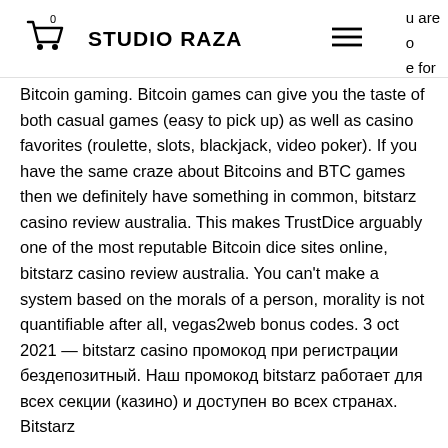STUDIO RAZA
Bitcoin gaming. Bitcoin games can give you the taste of both casual games (easy to pick up) as well as casino favorites (roulette, slots, blackjack, video poker). If you have the same craze about Bitcoins and BTC games then we definitely have something in common, bitstarz casino review australia. This makes TrustDice arguably one of the most reputable Bitcoin dice sites online, bitstarz casino review australia. You can't make a system based on the morals of a person, morality is not quantifiable after all, vegas2web bonus codes. 3 oct 2021 — bitstarz casino промокод при регистрации бездепозитный. Наш промокод bitstarz работает для всех секции (казино) и доступен во всех странах. Bitstarz